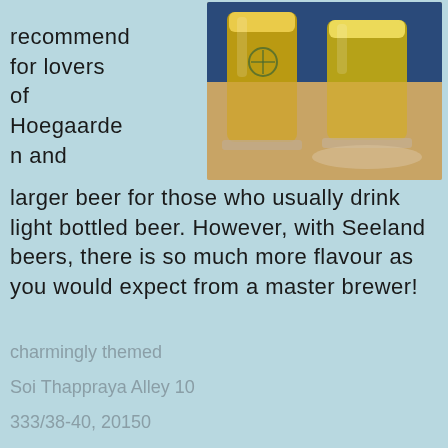recommend for lovers of Hoegaarden and
[Figure (photo): Two glasses of light beer (wheat/lager style) on a wooden table, with a Seeland Brewery logo visible on the glasses]
larger beer for those who usually drink light bottled beer. However, with Seeland beers, there is so much more flavour as you would expect from a master brewer!
charmingly themed
Soi Thappraya Alley 10
333/38-40, 20150
Facebook Seeland Brewery